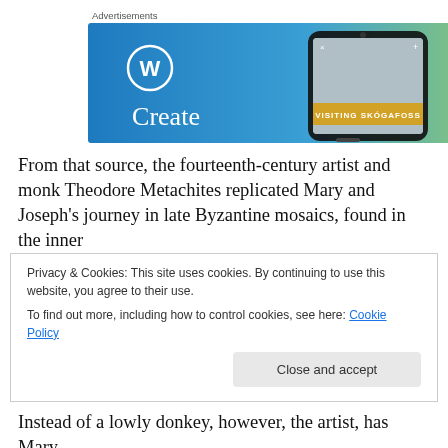[Figure (advertisement): WordPress 'Create' advertisement banner with a smartphone showing 'Visiting Skogafoss' on a blue-green gradient background]
From that source, the fourteenth-century artist and monk Theodore Metachites replicated Mary and Joseph's journey in late Byzantine mosaics, found in the inner
Privacy & Cookies: This site uses cookies. By continuing to use this website, you agree to their use.
To find out more, including how to control cookies, see here: Cookie Policy
Close and accept
Instead of a lowly donkey, however, the artist, has Mary